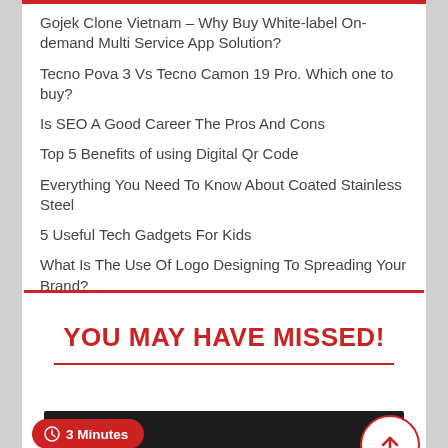Gojek Clone Vietnam – Why Buy White-label On-demand Multi Service App Solution?
Tecno Pova 3 Vs Tecno Camon 19 Pro. Which one to buy?
Is SEO A Good Career The Pros And Cons
Top 5 Benefits of using Digital Qr Code
Everything You Need To Know About Coated Stainless Steel
5 Useful Tech Gadgets For Kids
What Is The Use Of Logo Designing To Spreading Your Brand?
YOU MAY HAVE MISSED!
3 Minutes